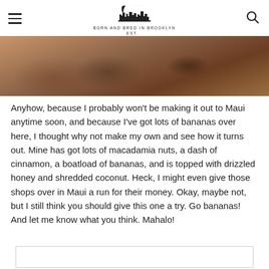BORN AND BRED IN BROOKLYN (logo)
[Figure (photo): Close-up photo of a baked banana bread or similar dessert with coconut topping, warm brown tones]
Anyhow, because I probably won't be making it out to Maui anytime soon, and because I've got lots of bananas over here, I thought why not make my own and see how it turns out. Mine has got lots of macadamia nuts, a dash of cinnamon, a boatload of bananas, and is topped with drizzled honey and shredded coconut. Heck, I might even give those shops over in Maui a run for their money. Okay, maybe not, but I still think you should give this one a try. Go bananas! And let me know what you think. Mahalo!